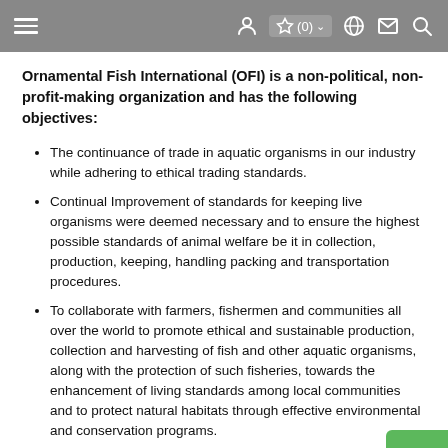Navigation bar with hamburger menu, user icon, favorites (0), globe, mail, and search icons
Ornamental Fish International (OFI) is a non-political, non-profit-making organization and has the following objectives:
The continuance of trade in aquatic organisms in our industry while adhering to ethical trading standards.
Continual Improvement of standards for keeping live organisms were deemed necessary and to ensure the highest possible standards of animal welfare be it in collection, production, keeping, handling packing and transportation procedures.
To collaborate with farmers, fishermen and communities all over the world to promote ethical and sustainable production, collection and harvesting of fish and other aquatic organisms, along with the protection of such fisheries, towards the enhancement of living standards among local communities and to protect natural habitats through effective environmental and conservation programs.
To achieve agreed objectives OFI will collaborate with governments, legislators, bodies and all other stakeholders.